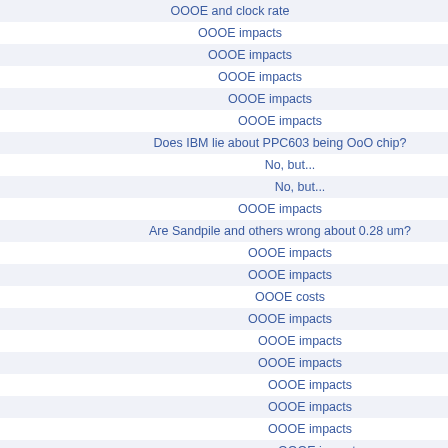| OOOE and clock rate |
| OOOE impacts |
| OOOE impacts |
| OOOE impacts |
| OOOE impacts |
| OOOE impacts |
| Does IBM lie about PPC603 being OoO chip? |
| No, but... |
| No, but... |
| OOOE impacts |
| Are Sandpile and others wrong about 0.28 um? |
| OOOE impacts |
| OOOE impacts |
| OOOE costs |
| OOOE impacts |
| OOOE impacts |
| OOOE impacts |
| OOOE impacts |
| OOOE impacts |
| OOOE impacts |
| OOOE impacts |
| OOOE impacts |
| if-ex distance |